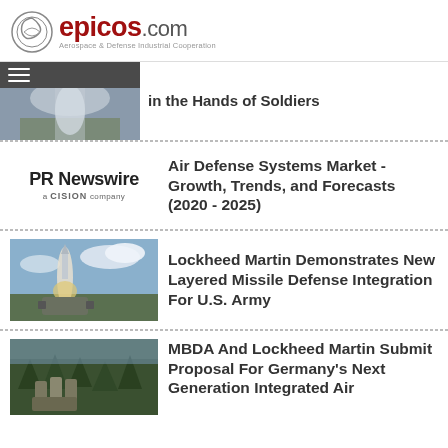[Figure (logo): epicos.com logo with circular icon and tagline: Aerospace & Defense Industrial Cooperation]
[Figure (photo): Partial article with photo of military/defense scene and partial headline 'in the Hands of Soldiers']
[Figure (logo): PR Newswire a CISION company logo]
Air Defense Systems Market - Growth, Trends, and Forecasts (2020 - 2025)
[Figure (photo): Missile launch photo - Lockheed Martin missile defense system firing]
Lockheed Martin Demonstrates New Layered Missile Defense Integration For U.S. Army
[Figure (photo): MBDA missile defense system in forest setting]
MBDA And Lockheed Martin Submit Proposal For Germany's Next Generation Integrated Air And Missile Defense System